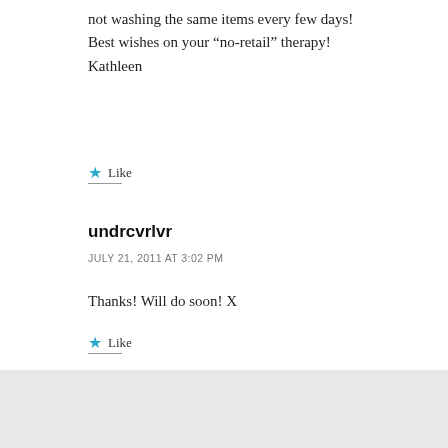not washing the same items every few days! Best wishes on your “no-retail” therapy! Kathleen
Like
undrcvrlvr
JULY 21, 2011 AT 3:02 PM
Thanks! Will do soon! X
Like
Advertisements
[Figure (screenshot): DuckDuckGo advertisement banner: orange left panel with white text 'Search, browse, and email with more privacy. All in One Free App' and dark right panel with DuckDuckGo duck logo and brand name.]